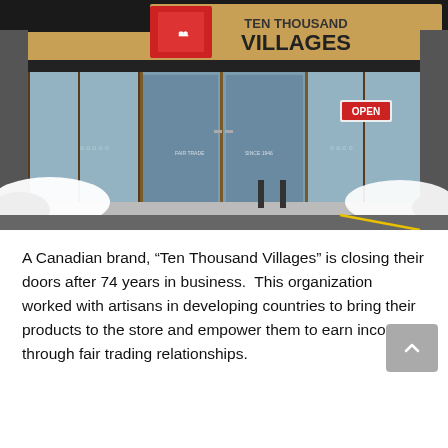[Figure (photo): Exterior photo of a Ten Thousand Villages store in winter, with snow piled around the entrance. The storefront has large glass windows and doors, a tan/ochre building facade, and a sign reading 'TEN THOUSAND VILLAGES' with a red logo on the upper portion. An OPEN sign is visible in the window.]
A Canadian brand, “Ten Thousand Villages” is closing their doors after 74 years in business. This organization worked with artisans in developing countries to bring their products to the store and empower them to earn income through fair trading relationships.